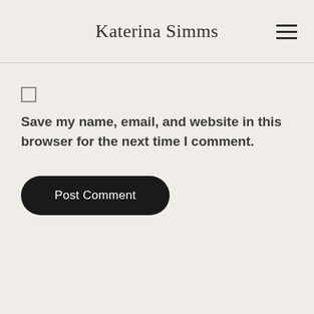Katerina Simms
Save my name, email, and website in this browser for the next time I comment.
Post Comment